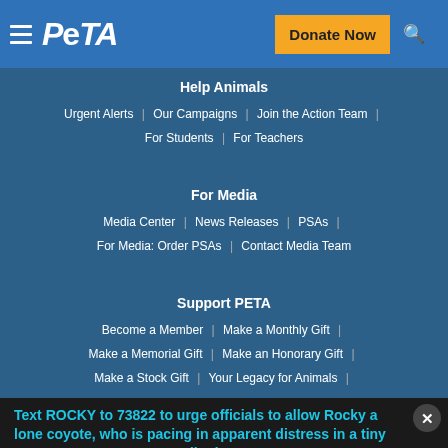PETA | Donate Now
Help Animals
Urgent Alerts | Our Campaigns | Join the Action Team |
For Students | For Teachers
For Media
Media Center | News Releases | PSAs |
For Media: Order PSAs | Contact Media Team
Support PETA
Become a Member | Make a Monthly Gift |
Make a Memorial Gift | Make an Honorary Gift |
Make a Stock Gift | Your Legacy for Animals |
Text ROCKY to 73822 to urge officials to allow Rocky a lone coyote, who is pacing in apparent distress in a tiny cage, to move to an accredited sanctuary.
Terms for automated texts/calls from PETA: http://peta.vg/txt. Text STOP to end, HELP for more info. Msg/data rates may apply. U.S. only.